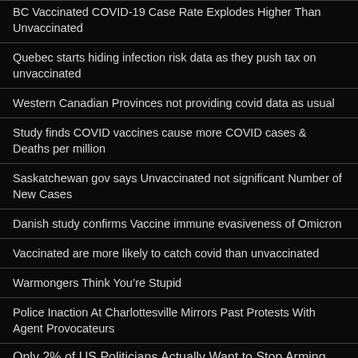BC Vaccinated COVID-19 Case Rate Explodes Higher Than Unvaccinated
Quebec starts hiding infection risk data as they push tax on unvaccinated
Western Canadian Provinces not providing covid data as usual
Study finds COVID vaccines cause more COVID cases & Deaths per million
Saskatchewan gov says Unvaccinated not significant Number of New Cases
Danish study confirms Vaccine immune evasiveness of Omicron
Vaccinated are more likely to catch covid than unvaccinated
Warmongers Think You’re Stupid
Police Inaction At Charlottesville Mirrors Past Protests With Agent Provocateurs
Only 2% of US Politicians Actually Want to Stop Arming Terrorists –